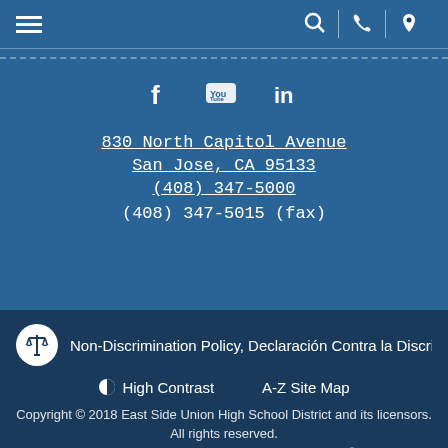[Figure (screenshot): Navigation header bar with hamburger menu on left and search, phone, location icons on right, on blue background]
[Figure (illustration): Social media icons: Facebook, YouTube, LinkedIn on blue background]
830 North Capitol Avenue
San Jose, CA 95133
(408) 347-5000
(408) 347-5015 (fax)
Non-Discrimination Policy, Declaración Contra la Discri...
High Contrast    A-Z Site Map
Copyright © 2018 East Side Union High School District and its licensors. All rights reserved.
Website Developed By CatapultCMS™ & EMS™. | Log In